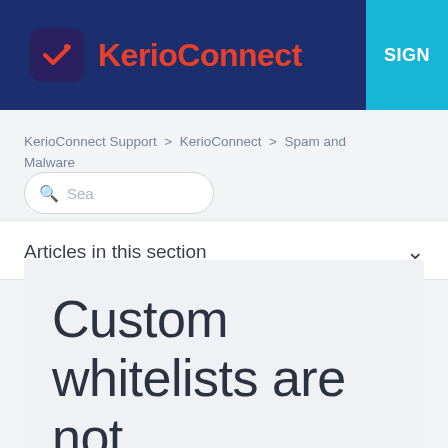KerioConnect | SIGN
KerioConnect Support > KerioConnect > Spam and Malware
Search
Articles in this section
Custom whitelists are not